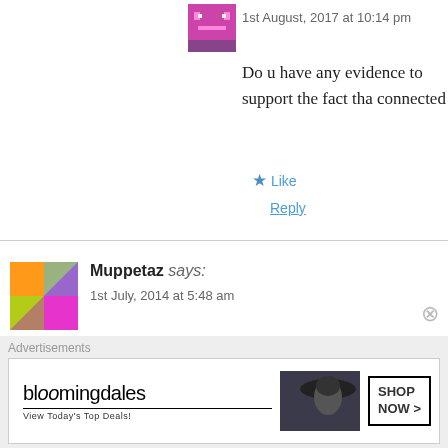1st August, 2017 at 10:14 pm
Do u have any evidence to support the fact tha... connected
Like
Reply
Muppetaz says:
1st July, 2014 at 5:48 am
Interesting to note, the skeleton of a pirate (with a swor... should be) appears on board the ship Ariel explores in T... would one explain that?
Advertisements
[Figure (screenshot): Bloomingdales advertisement banner: View Today's Top Deals! with SHOP NOW > button]